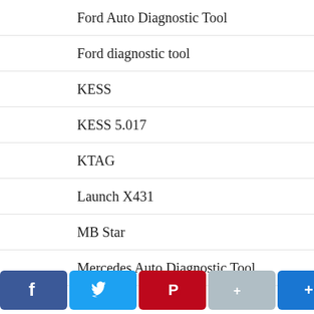Ford Auto Diagnostic Tool
Ford diagnostic tool
KESS
KESS 5.017
KTAG
Launch X431
MB Star
Mercedes Auto Diagnostic Tool
OBD2
OBD2 Code Scanner
OBD2 ERROR Code
OBD2 software
[Figure (screenshot): Social sharing bar with Facebook, Twitter, Pinterest, Google+, and Share buttons]